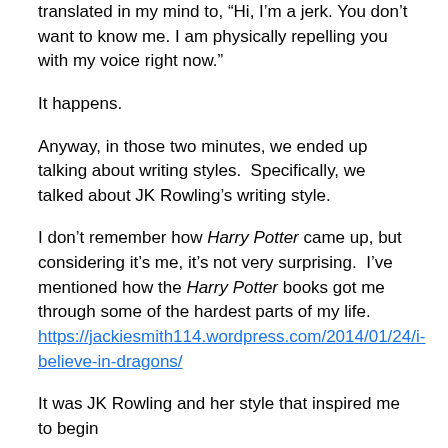translated in my mind to, “Hi, I’m a jerk. You don’t want to know me. I am physically repelling you with my voice right now.”
It happens.
Anyway, in those two minutes, we ended up talking about writing styles.  Specifically, we talked about JK Rowling’s writing style.
I don’t remember how Harry Potter came up, but considering it’s me, it’s not very surprising.  I’ve mentioned how the Harry Potter books got me through some of the hardest parts of my life. https://jackiesmith114.wordpress.com/2014/01/24/i-believe-in-dragons/
It was JK Rowling and her style that inspired me to begin